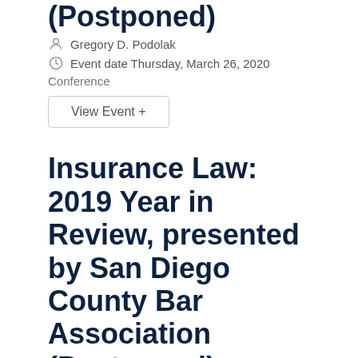(Postponed)
Gregory D. Podolak
Event date Thursday, March 26, 2020
Conference
View Event +
Insurance Law: 2019 Year in Review, presented by San Diego County Bar Association (Postponed)
Event date Wednesday, March 25, 2020
Seminar